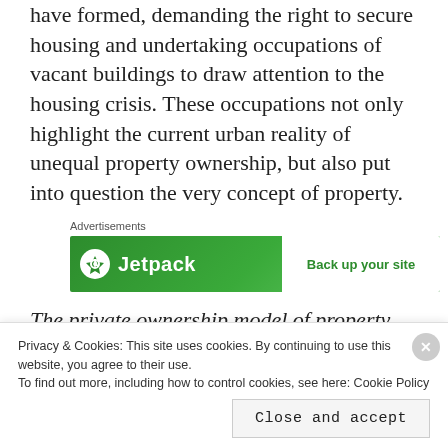have formed, demanding the right to secure housing and undertaking occupations of vacant buildings to draw attention to the housing crisis. These occupations not only highlight the current urban reality of unequal property ownership, but also put into question the very concept of property.
[Figure (other): Advertisement banner for Jetpack with green background and 'Back up your site' call to action]
The private ownership model of property
In his work Unsettling the City, Nicholas Blomley
Privacy & Cookies: This site uses cookies. By continuing to use this website, you agree to their use. To find out more, including how to control cookies, see here: Cookie Policy
Close and accept